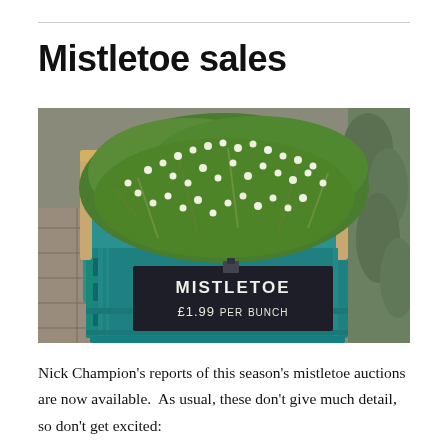Mistletoe sales
[Figure (photo): A green plastic crate overflowing with mistletoe sprigs with white berries, with a dark chalkboard sign reading 'MISTLETOE £1.99 PER BUNCH' clipped to the front.]
Nick Champion's reports of this season's mistletoe auctions are now available.  As usual, these don't give much detail, so don't get excited: